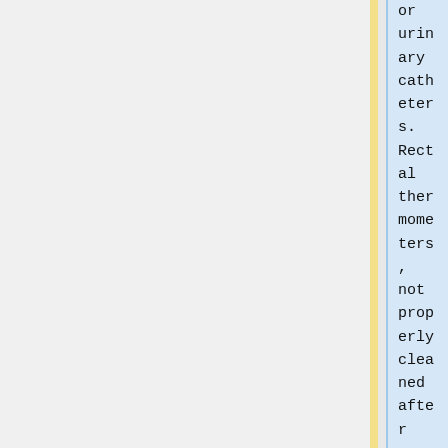or urinary catheters. Rectal thermometers, not properly cleaned after use, can transmit the VRE from patient to patient as well. Sometimes the transmission can result in colonization of the patient's GI